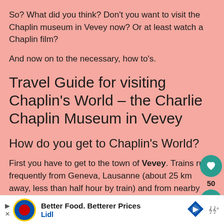So? What did you think? Don't you want to visit the Chaplin museum in Vevey now? Or at least watch a Chaplin film?
And now on to the necessary, how to's.
Travel Guide for visiting Chaplin's World – the Charlie Chaplin Museum in Vevey
How do you get to Chaplin's World?
First you have to get to the town of Vevey. Trains run frequently from Geneva, Lausanne (about 25 km away, less than half hour by train) and from nearby Montreux. Once there take bus 212 (destination Fenil) to Corsier-sur Vevey from either the Place Marche
[Figure (other): Advertisement banner for Lidl: Better Food. Betterer Prices, Lidl logo with yellow and red circle on blue background, blue diamond arrow icon, sound icon]